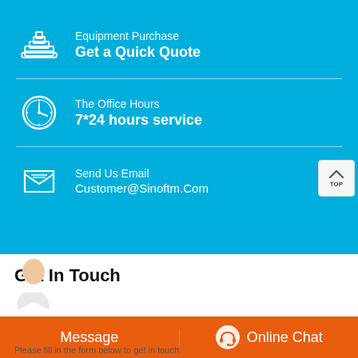Equipment Purchase
Get a Quick Quote
The Office Hours
7*24 hours service
Send Us Email
Customer@Sinoftm.Com
Get In Touch
Message
Online Chat
Please fill in the form below to get in touch.